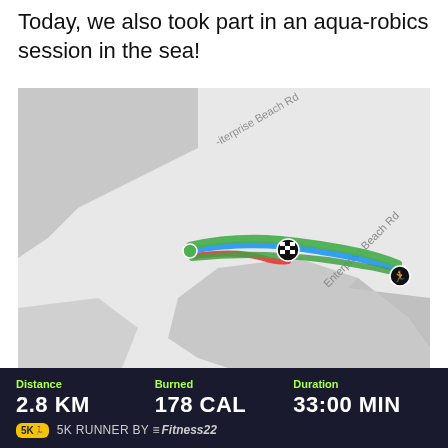Today, we also took part in an aqua-robics session in the sea!
[Figure (map): Google Maps screenshot showing a GPS track along Enterprise Beach Rd. The route is shown as overlapping colored lines (green, blue, red) running roughly east-west along a coastal area. A checkered flag icon marks a mid-point and a runner icon marks the start/end point to the right.]
Distance 2.8 KM   Burned 178 CAL   Duration 33:00 MIN
5K RUNNER BY Fitness22